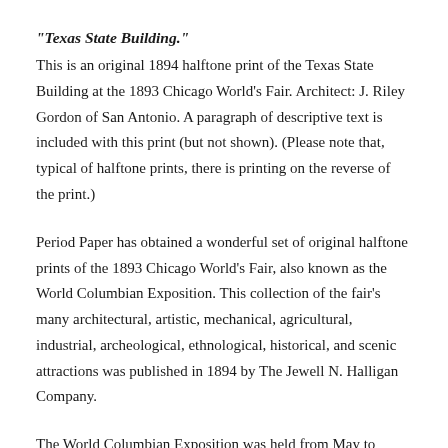"Texas State Building."
This is an original 1894 halftone print of the Texas State Building at the 1893 Chicago World's Fair. Architect: J. Riley Gordon of San Antonio. A paragraph of descriptive text is included with this print (but not shown). (Please note that, typical of halftone prints, there is printing on the reverse of the print.)
Period Paper has obtained a wonderful set of original halftone prints of the 1893 Chicago World's Fair, also known as the World Columbian Exposition. This collection of the fair's many architectural, artistic, mechanical, agricultural, industrial, archeological, ethnological, historical, and scenic attractions was published in 1894 by The Jewell N. Halligan Company.
The World Columbian Exposition was held from May to